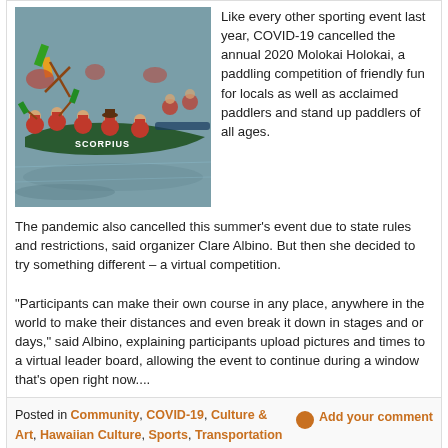[Figure (photo): People in red shirts paddling canoes and kayaks on water, with a boat labeled SCORPIUS visible]
Like every other sporting event last year, COVID-19 cancelled the annual 2020 Molokai Holokai, a paddling competition of friendly fun for locals as well as acclaimed paddlers and stand up paddlers of all ages. The pandemic also cancelled this summer's event due to state rules and restrictions, said organizer Clare Albino. But then she decided to try something different – a virtual competition.

"Participants can make their own course in any place, anywhere in the world to make their distances and even break it down in stages and or days," said Albino, explaining participants upload pictures and times to a virtual leader board, allowing the event to continue during a window that's open right now....
Posted in Community, COVID-19, Culture & Art, Hawaiian Culture, Sports, Transportation
Add your comment
OHA Awards Nonprofit Grants
Wednesday, May 26th, 2021